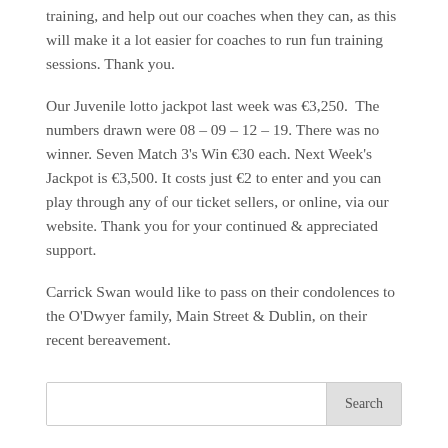training, and help out our coaches when they can, as this will make it a lot easier for coaches to run fun training sessions. Thank you.
Our Juvenile lotto jackpot last week was €3,250.  The numbers drawn were 08 – 09 – 12 – 19. There was no winner. Seven Match 3's Win €30 each. Next Week's Jackpot is €3,500. It costs just €2 to enter and you can play through any of our ticket sellers, or online, via our website. Thank you for your continued & appreciated support.
Carrick Swan would like to pass on their condolences to the O'Dwyer family, Main Street & Dublin, on their recent bereavement.